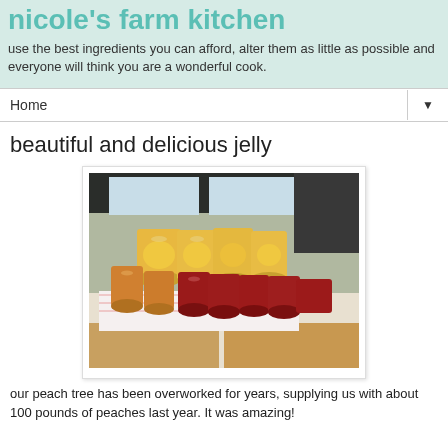nicole's farm kitchen
use the best ingredients you can afford, alter them as little as possible and everyone will think you are a wonderful cook.
Home ▼
beautiful and delicious jelly
[Figure (photo): Multiple jars of homemade jelly and canned peaches arranged on a kitchen counter, showing orange peach preserves and dark red/purple jelly jars in front, with large jars of canned whole peaches in the background. Kitchen setting with cabinets and window visible.]
our peach tree has been overworked for years, supplying us with about 100 pounds of peaches last year.  It was amazing!